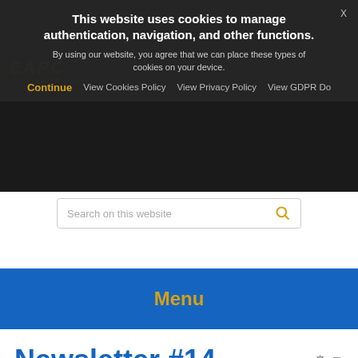This website uses cookies to manage authentication, navigation, and other functions. By using our website, you agree that we can place these types of cookies on your device.
Continue  View Cookies Policy  View Privacy Policy  View GDPR Do
[Figure (screenshot): Website search bar with placeholder text 'Search on this website' and orange magnifier icon]
Menu
Newsletter #14